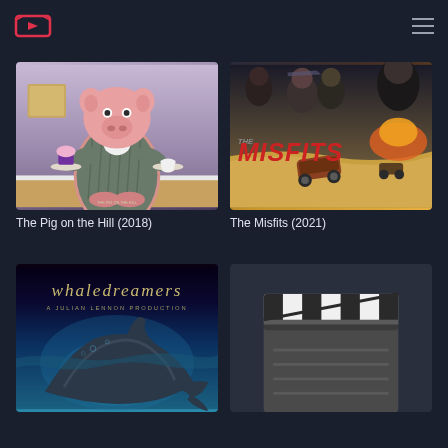[Figure (logo): TV/streaming app logo with red play button icon in TV frame]
[Figure (photo): Movie poster for The Pig on the Hill (2018) - animated pig in suit holding cupcake and tea]
The Pig on the Hill (2018)
[Figure (photo): Movie poster for The Misfits (2021) - action movie with cast and cars in desert]
The Misfits (2021)
[Figure (photo): Movie poster for Whaledreamers - A Julian Lennon Production, whale underwater]
[Figure (photo): Movie clapperboard placeholder thumbnail]